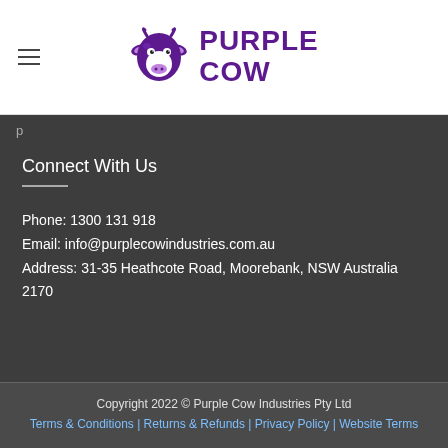[Figure (logo): Purple Cow Industries logo with purple cow icon and purple text reading PURPLE COW]
p
Connect With Us
Phone: 1300 131 918
Email: info@purplecowindustries.com.au
Address: 31-35 Heathcote Road, Moorebank, NSW Australia 2170
Copyright 2022 © Purple Cow Industries Pty Ltd
Terms & Conditions | Returns & Refunds | Privacy Policy | Website Terms